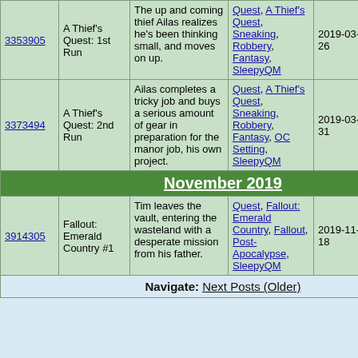| ID | Name | Description | Tags | Date | # | Action |
| --- | --- | --- | --- | --- | --- | --- |
| 3353905 | A Thief's Quest: 1st Run | The up and coming thief Ailas realizes he's been thinking small, and moves on up. | Quest, A Thief's Quest, Sneaking, Robbery, Fantasy, SleepyQM | 2019-03-26 | 8 | Vote |
| 3373494 | A Thief's Quest: 2nd Run | Ailas completes a tricky job and buys a serious amount of gear in preparation for the manor job, his own project. | Quest, A Thief's Quest, Sneaking, Robbery, Fantasy, OC Setting, SleepyQM | 2019-03-31 | 6 | Vote |
| November 2019 |
| 3914305 | Fallout: Emerald Country #1 | Tim leaves the vault, entering the wasteland with a desperate mission from his father. | Quest, Fallout: Emerald Country, Fallout, Post-Apocalypse, SleepyQM | 2019-11-18 | 6 | Vote |
Navigate: Next Posts (Older)